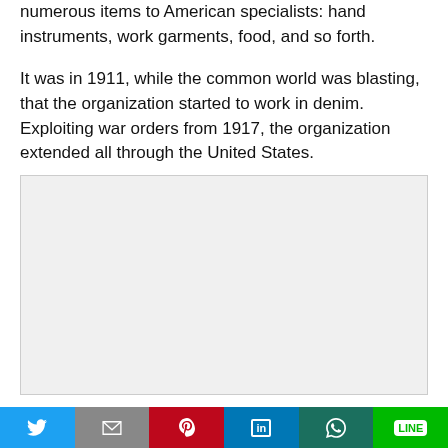numerous items to American specialists: hand instruments, work garments, food, and so forth.
It was in 1911, while the common world was blasting, that the organization started to work in denim. Exploiting war orders from 1917, the organization extended all through the United States.
[Figure (other): Gray advertisement placeholder box]
Twitter | Gmail | Pinterest | LinkedIn | WhatsApp | LINE